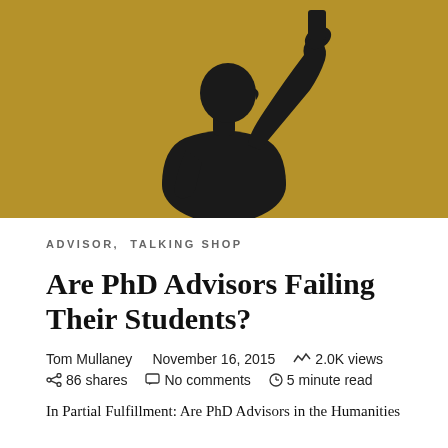[Figure (illustration): A silhouette of a person taking a selfie, illustrated on a golden/brown background. The figure is entirely black against the ochre-gold background.]
ADVISOR,  TALKING SHOP
Are PhD Advisors Failing Their Students?
Tom Mullaney   November 16, 2015   2.0K views   86 shares   No comments   5 minute read
In Partial Fulfillment: Are PhD Advisors in the Humanities